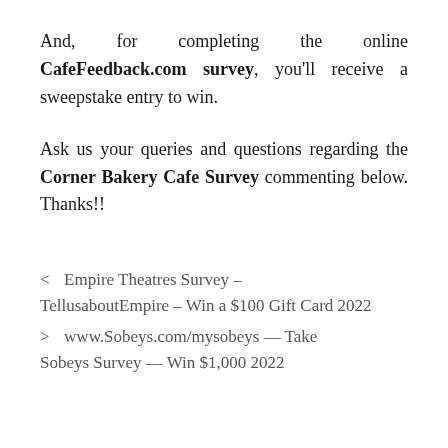And, for completing the online CafeFeedback.com survey, you'll receive a sweepstake entry to win.
Ask us your queries and questions regarding the Corner Bakery Cafe Survey commenting below. Thanks!!
< Empire Theatres Survey – TellusaboutEmpire – Win a $100 Gift Card 2022
> www.Sobeys.com/mysobeys — Take Sobeys Survey — Win $1,000 2022